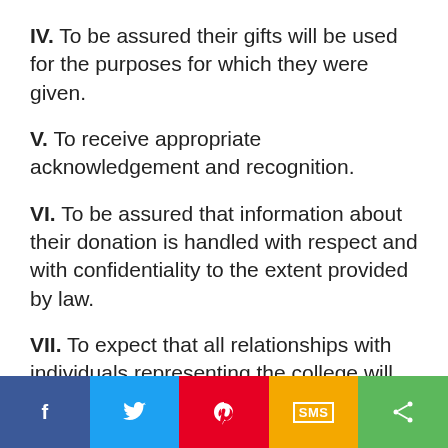IV.  To be assured their gifts will be used for the purposes for which they were given.
V.  To receive appropriate acknowledgement and recognition.
VI.  To be assured that information about their donation is handled with respect and with confidentiality to the extent provided by law.
VII.  To expect that all relationships with individuals representing the college will be professional in nature.
VIII.  To be informed whether those seeking donations are volunteers, employees of the